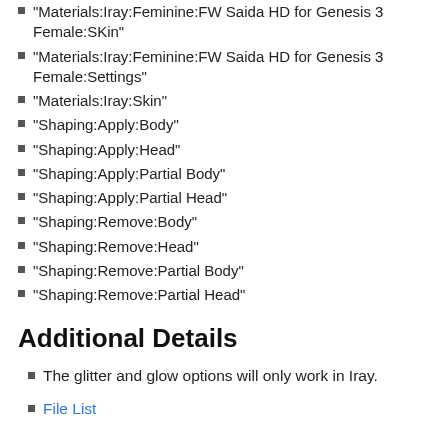“Materials:Iray:Feminine:FW Saida HD for Genesis 3 Female:SKin”
“Materials:Iray:Feminine:FW Saida HD for Genesis 3 Female:Settings”
“Materials:Iray:Skin”
“Shaping:Apply:Body”
“Shaping:Apply:Head”
“Shaping:Apply:Partial Body”
“Shaping:Apply:Partial Head”
“Shaping:Remove:Body”
“Shaping:Remove:Head”
“Shaping:Remove:Partial Body”
“Shaping:Remove:Partial Head”
Additional Details
The glitter and glow options will only work in Iray.
File List